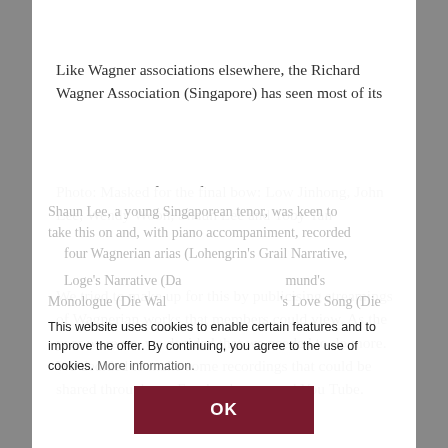Like Wagner associations elsewhere, the Richard Wagner Association (Singapore) has seen most of its
Photo: Masked for the final bow: Low Jinhong, John Lee, Wendy Woon, Shaun Lee and Toby Tan
We tried to make up for this by publicising streamings of Wagnerian works that members could view. As the year wore on, we decided that we needed to do more. We decided to make some recordings that could be shared through our Facebook page and You Tube.
Shaun Lee, a young Singaporean tenor, was keen to take this on and, with piano accompaniment, recorded four Wagnerian arias (Lohengrin's Grail Narrative, Loge's Narrative (Das Rheingold), Siegmund's Monologue (Die Walküre) and Siegmund's Love Song (Die
This website uses cookies to enable certain features and to improve the offer. By continuing, you agree to the use of cookies. More information.
OK